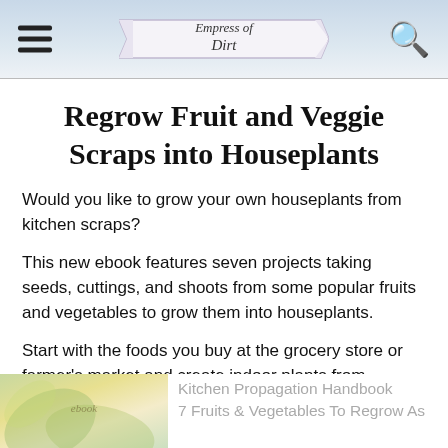Empress of Dirt
Regrow Fruit and Veggie Scraps into Houseplants
Would you like to grow your own houseplants from kitchen scraps?
This new ebook features seven projects taking seeds, cuttings, and shoots from some popular fruits and vegetables to grow them into houseplants.
Start with the foods you buy at the grocery store or farmer's market and create indoor plants from scratch!
[Figure (photo): Partial book cover image with plant/leaf imagery]
Kitchen Propagation Handbook 7 Fruits & Vegetables To Regrow As